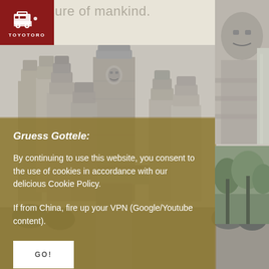treasure of mankind.
[Figure (logo): TOYOTORO travel logo - red box with car/suitcase icon and text TOYOTORO]
[Figure (other): Hamburger menu icon on dark red background]
[Figure (photo): Black and white photo of Angkor Wat / Bayon temple with stone faces, Cambodia]
Gruess Gottele:
By continuing to use this website, you consent to the use of cookies in accordance with our delicious Cookie Policy.

If from China, fire up your VPN (Google/Youtube content).
GO!